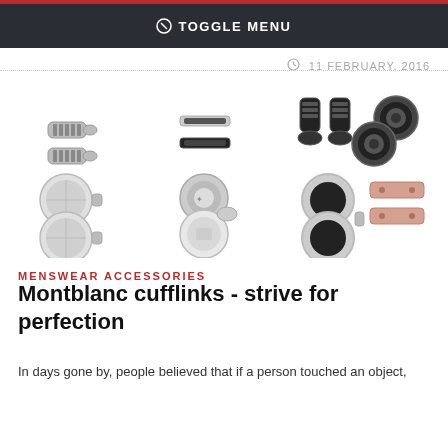TOGGLE MENU
11 FEBRUARY, 2016
[Figure (photo): Collection of Montblanc cufflinks displayed on white background: various styles including metallic, black, round, bar-shaped, and rose gold cufflinks arranged in two rows.]
MENSWEAR ACCESSORIES
Montblanc cufflinks - strive for perfection
In days gone by, people believed that if a person touched an object,